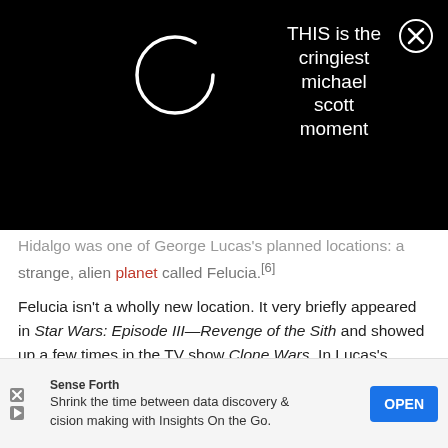[Figure (screenshot): Black overlay banner with a loading spinner circle on the left and the text 'THIS is the cringiest michael scott moment' centered on the right, with a close button (X in circle) in the top right corner.]
Hidalgo was one of George Lucas's planned locations: a strange, alien planet called Felucia.[6]
Felucia isn't a wholly new location. It very briefly appeared in Star Wars: Episode III—Revenge of the Sith and showed up a few times in the TV show Clone Wars. In Lucas's sequel trilogy, though, it would have been a major location.
It's a planet overrun with jungles of towering mushrooms and ferns, all growing in every color of the spectrum. The gigantic, neon-colored mushrooms that fill the planet can shoot out spores and toxic puffballs and even eat human beings whole.
Its nat...cision making with Insights On the Go.
[Figure (screenshot): Advertisement banner: Sense Forth logo, text 'Shrink the time between data discovery & decision making with Insights On the Go.' with an OPEN button.]